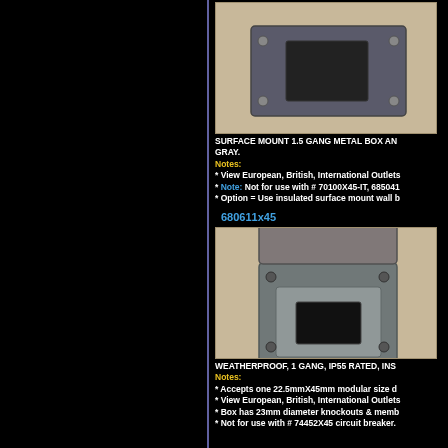[Figure (photo): Surface mount 1.5 gang metal box, gray color, rectangular enclosure with mounting holes]
SURFACE MOUNT 1.5 GANG METAL BOX AN GRAY.
Notes:
* View European, British, International Outlets
* Note: Not for use with # 70100X45-IT, 685041
* Option = Use insulated surface mount wall b
680611x45
[Figure (photo): Weatherproof 1 gang IP55 rated insulated enclosure with flip lid open, gray color]
WEATHERPROOF, 1 GANG, IP55 RATED, INS
Notes:
* Accepts one 22.5mmX45mm modular size d
* View European, British, International Outlets
* Box has 23mm diameter knockouts & memb
* Not for use with # 74452X45 circuit breaker.